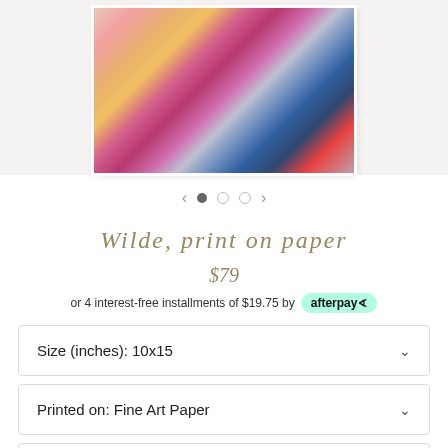[Figure (photo): Abstract colorful painting with brushstrokes of yellow, magenta, pink, white, blue, navy, and red on a light background, displayed as a framed print]
< • ○ ○ >
Wilde, print on paper
$79
or 4 interest-free installments of $19.75 by afterpay
Size (inches): 10x15
Printed on: Fine Art Paper